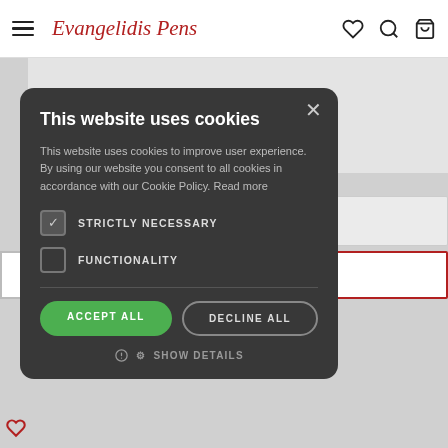[Figure (screenshot): Website navigation bar with hamburger menu, 'Evangelidis Pens' brand name in cursive red, and heart, search, and shopping bag icons on the right.]
[Figure (screenshot): Cookie consent modal dialog on dark background (#333). Contains title 'This website uses cookies', body text, two checkboxes (STRICTLY NECESSARY checked, FUNCTIONALITY unchecked), ACCEPT ALL and DECLINE ALL buttons, and SHOW DETAILS link.]
This website uses cookies
This website uses cookies to improve user experience. By using our website you consent to all cookies in accordance with our Cookie Policy. Read more
STRICTLY NECESSARY
FUNCTIONALITY
ACCEPT ALL
DECLINE ALL
SHOW DETAILS